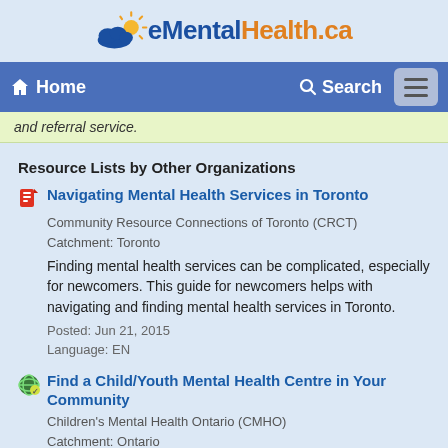eMentalHealth.ca
Home | Search
and referral service.
Resource Lists by Other Organizations
Navigating Mental Health Services in Toronto
Community Resource Connections of Toronto (CRCT)
Catchment: Toronto
Finding mental health services can be complicated, especially for newcomers. This guide for newcomers helps with navigating and finding mental health services in Toronto.
Posted: Jun 21, 2015
Language: EN
Find a Child/Youth Mental Health Centre in Your Community
Children's Mental Health Ontario (CMHO)
Catchment: Ontario